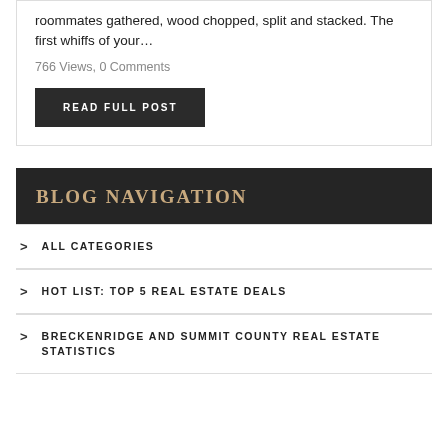roommates gathered, wood chopped, split and stacked. The first whiffs of your…
766 Views, 0 Comments
READ FULL POST
BLOG NAVIGATION
ALL CATEGORIES
HOT LIST: TOP 5 REAL ESTATE DEALS
BRECKENRIDGE AND SUMMIT COUNTY REAL ESTATE STATISTICS